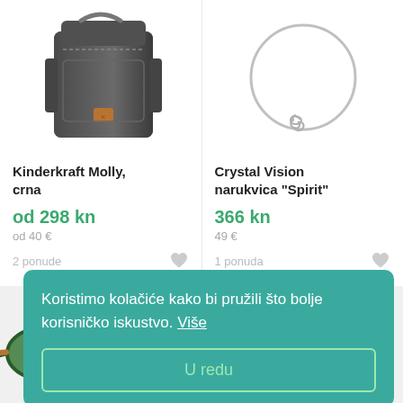[Figure (photo): Dark grey/black travel bag (Kinderkraft Molly) on white background, top half cropped]
Kinderkraft Molly, crna
od 298 kn
od 40 €
2 ponude
[Figure (photo): Silver wire bangle bracelet (Crystal Vision Spirit) on white background]
Crystal Vision narukvica "Spirit"
366 kn
49 €
1 ponuda
Koristimo kolačiće kako bi pružili što bolje korisničko iskustvo. Više
U redu
[Figure (photo): Partial view of sunglasses product at bottom of page, partially obscured by cookie banner]